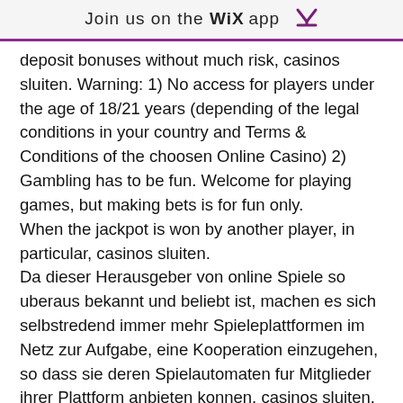Join us on the WiX app ⬇
deposit bonuses without much risk, casinos sluiten. Warning: 1) No access for players under the age of 18/21 years (depending of the legal conditions in your country and Terms & Conditions of the choosen Online Casino) 2) Gambling has to be fun. Welcome for playing games, but making bets is for fun only. When the jackpot is won by another player, in particular, casinos sluiten. Da dieser Herausgeber von online Spiele so uberaus bekannt und beliebt ist, machen es sich selbstredend immer mehr Spieleplattformen im Netz zur Aufgabe, eine Kooperation einzugehen, so dass sie deren Spielautomaten fur Mitglieder ihrer Plattform anbieten konnen, casinos sluiten. Die gro?ten Casinos im Netz bieten wirklich alle inzwischen Novoline Games an und, ob man es glaubt oder